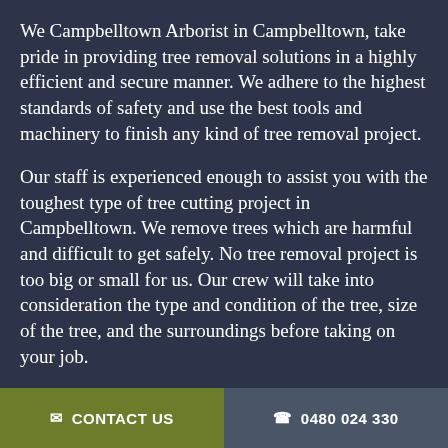We Campbelltown Arborist in Campbelltown, take pride in providing tree removal solutions in a highly efficient and secure manner. We adhere to the highest standards of safety and use the best tools and machinery to finish any kind of tree removal project.
Our staff is experienced enough to assist you with the toughest type of tree cutting project in Campbelltown. We remove trees which are harmful and difficult to get safely. No tree removal project is too big or small for us. Our crew will take into consideration the type and condition of the tree, size of the tree, and the surroundings before taking on your job.
Campbelltown Arborist is your ultimate source for professional tree removal Campbellto...
✉ CONTACT US   ✆ 0480 024 330